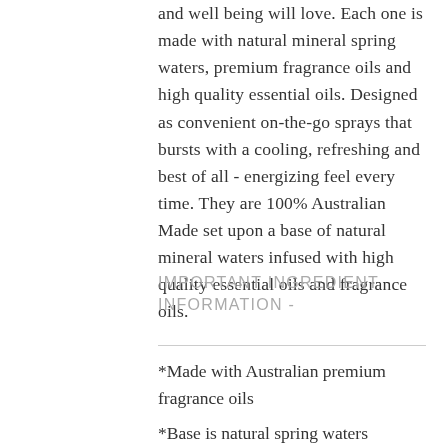and well being will love. Each one is made with natural mineral spring waters, premium fragrance oils and high quality essential oils. Designed as convenient on-the-go sprays that bursts with a cooling, refreshing and best of all - energizing feel every time. They are 100% Australian Made set upon a base of natural mineral waters infused with high quality essential oils and fragrance oils.
IMPORTANT INGREDIENT INFORMATION -
*Made with Australian premium fragrance oils
*Base is natural spring waters